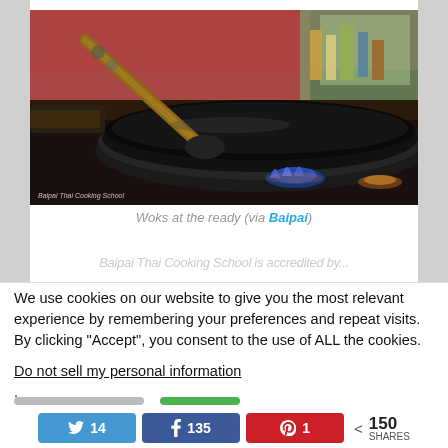[Figure (photo): A black wok on a gas stove with blue flame visible underneath, wooden-handled spatula/ladle resting in it. Kitchen background with bottles and cooking equipment. Baipai Thai Cooking School watermark visible.]
Woks at the ready (via Baipai)
Baipai Thai Cooking School is accredited by...
We use cookies on our website to give you the most relevant experience by remembering your preferences and repeat visits. By clicking "Accept", you consent to the use of ALL the cookies.
Do not sell my personal information.